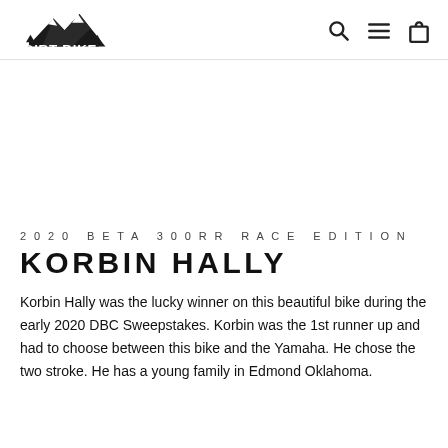DIRT BIKE CHANNEL [logo] [search] [menu] [cart]
[Figure (other): Blank white area (image placeholder)]
2020 BETA 300RR RACE EDITION
KORBIN HALLY
Korbin Hally was the lucky winner on this beautiful bike during the early 2020 DBC Sweepstakes. Korbin was the 1st runner up and had to choose between this bike and the Yamaha. He chose the two stroke. He has a young family in Edmond Oklahoma.